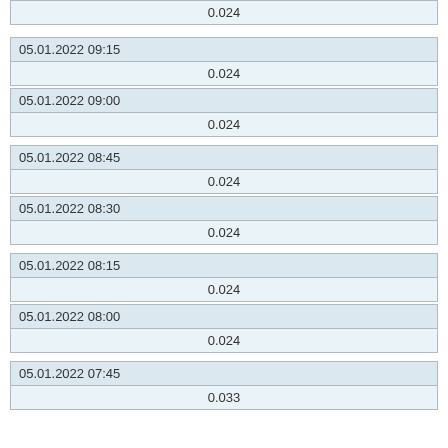| 0.024 |
| 05.01.2022 09:15 |
| --- |
| 0.024 |
| 05.01.2022 09:00 |
| --- |
| 0.024 |
| 05.01.2022 08:45 |
| --- |
| 0.024 |
| 05.01.2022 08:30 |
| --- |
| 0.024 |
| 05.01.2022 08:15 |
| --- |
| 0.024 |
| 05.01.2022 08:00 |
| --- |
| 0.024 |
| 05.01.2022 07:45 |
| --- |
| 0.033 |